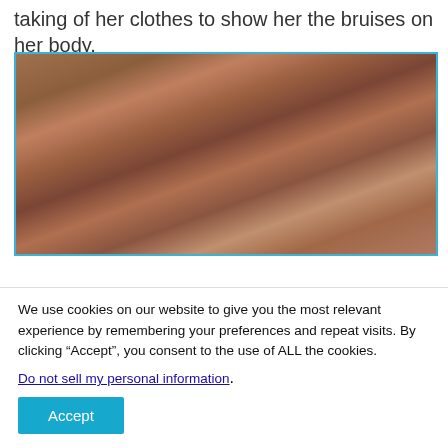taking of her clothes to show her the bruises on her body.
[Figure (photo): Photograph showing injuries on a person's body, partially cropped, displayed within a blue-bordered frame.]
We use cookies on our website to give you the most relevant experience by remembering your preferences and repeat visits. By clicking “Accept”, you consent to the use of ALL the cookies.
Do not sell my personal information.
Accept